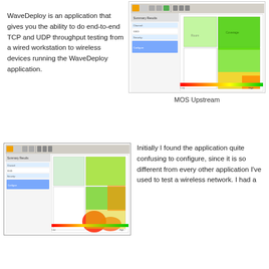WaveDeploy is an application that gives you the ability to do end-to-end TCP and UDP throughput testing from a wired workstation to wireless devices running the WaveDeploy application.
[Figure (screenshot): Screenshot of WaveDeploy application showing a heatmap with green, yellow, and red areas overlaid on a floor plan. MOS Upstream view.]
MOS Upstream
[Figure (screenshot): Screenshot of WaveDeploy application showing a heatmap with red, yellow, and green areas overlaid on a floor plan.]
Initially I found the application quite confusing to configure, since it is so different from every other application I've used to test a wireless network. I had a